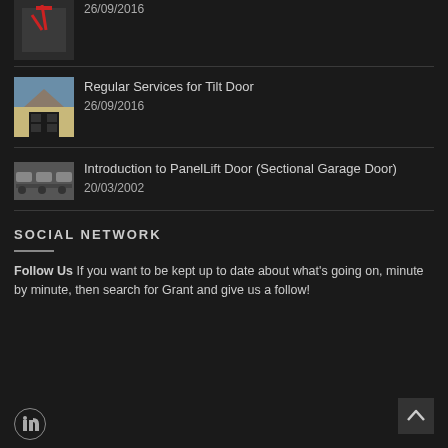[Figure (photo): Partial thumbnail of a red item at top of page]
26/09/2016
[Figure (photo): Thumbnail of a house with a dark garage door against a blue sky]
Regular Services for Tilt Door
26/09/2016
[Figure (photo): Thumbnail of multiple cars parked in a row]
Introduction to PanelLift Door (Sectional Garage Door)
20/03/2002
SOCIAL NETWORK
Follow Us If you want to be kept up to date about what's going on, minute by minute, then search for Grant and give us a follow!